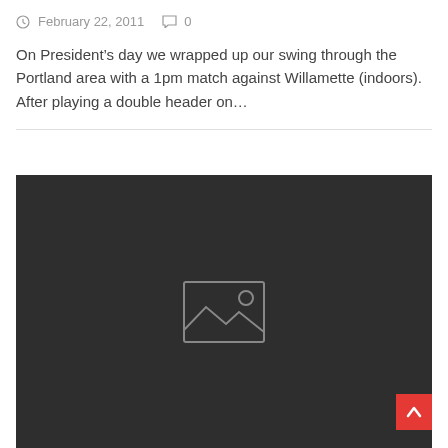February 22, 2011  0
On President’s day we wrapped up our swing through the Portland area with a 1pm match against Willamette (indoors). After playing a double header on...
[Figure (photo): Dark placeholder image with image icon in center]
[Figure (other): Red back-to-top button with upward chevron arrow]